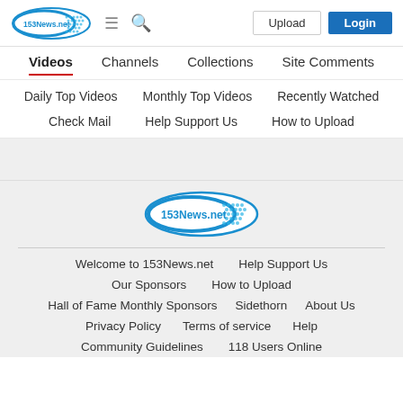[Figure (logo): 153News.net logo — blue oval with grid pattern and text]
≡ 🔍  Upload  Login
Videos | Channels | Collections | Site Comments
Daily Top Videos | Monthly Top Videos | Recently Watched
Check Mail | Help Support Us | How to Upload
[Figure (logo): 153News.net logo centered in footer area]
Welcome to 153News.net  Help Support Us
Our Sponsors  How to Upload
Hall of Fame Monthly Sponsors  Sidethorn  About Us
Privacy Policy  Terms of service  Help
Community Guidelines  118 Users Online